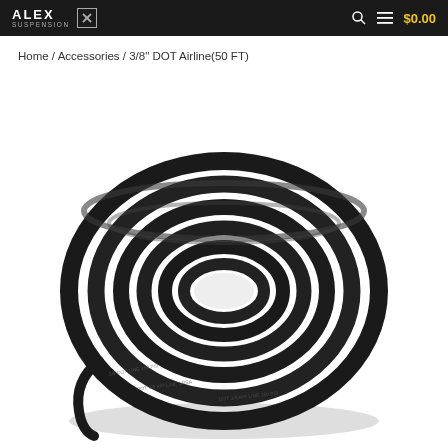SUSPENSION [X logo] $0.00
Home / Accessories / 3/8" DOT Airline(50 FT)
[Figure (photo): A coil of black 3/8 inch DOT air line tubing (50 feet), coiled into a circular bundle, shot on a white background. The black tubing has small white text printed along its length.]